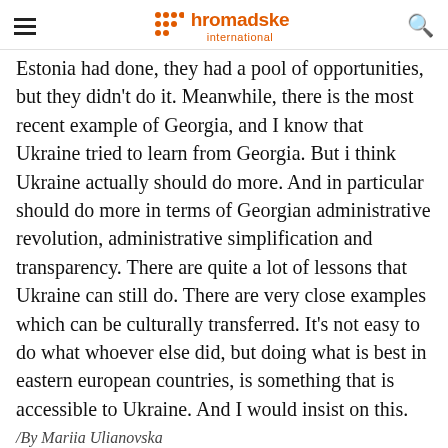hromadske international
Estonia had done, they had a pool of opportunities, but they didn't do it. Meanwhile, there is the most recent example of Georgia, and I know that Ukraine tried to learn from Georgia. But i think Ukraine actually should do more. And in particular should do more in terms of Georgian administrative revolution, administrative simplification and transparency. There are quite a lot of lessons that Ukraine can still do. There are very close examples which can be culturally transferred. It's not easy to do what whoever else did, but doing what is best in eastern european countries, is something that is accessible to Ukraine. And I would insist on this.
/By Mariia Ulianovska